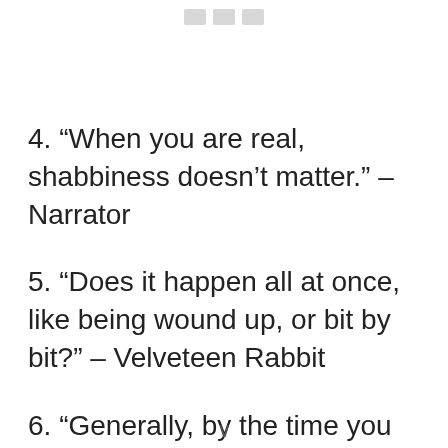[Figure (other): Decorative top image, partially visible at top of page]
4. “When you are real, shabbiness doesn’t matter.” – Narrator
5. “Does it happen all at once, like being wound up, or bit by bit?” – Velveteen Rabbit
6. “Generally, by the time you are real, most of your hair has been loved off
∨